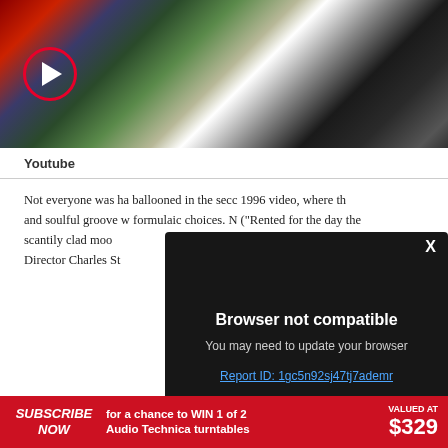[Figure (screenshot): Video thumbnail showing people seated at outdoor tables, with a red circular play button overlay on the left side]
Youtube
Not everyone was ha ballooned in the seco 1996 video, where th and soulful groove w formulaic choices. N ("Rented for the day the scantily clad moo Director Charles St
[Figure (screenshot): Browser not compatible popup overlay with dark background. Title: 'Browser not compatible'. Subtitle: 'You may need to update your browser'. Link: 'Report ID: 1gc5n92sj47tj7ademr'. X close button in top right.]
SUBSCRIBE NOW  for a chance to WIN 1 of 2 Audio Technica turntables  VALUED AT $329